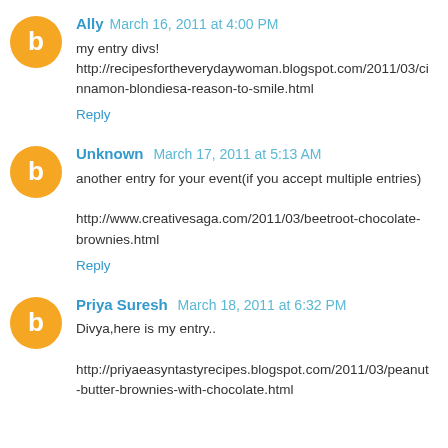Ally March 16, 2011 at 4:00 PM
my entry divs!
http://recipesfortheverydaywoman.blogspot.com/2011/03/cinnamon-blondiesa-reason-to-smile.html
Reply
Unknown March 17, 2011 at 5:13 AM
another entry for your event(if you accept multiple entries)
http://www.creativesaga.com/2011/03/beetroot-chocolate-brownies.html
Reply
Priya Suresh March 18, 2011 at 6:32 PM
Divya,here is my entry..
http://priyaeasyntastyrecipes.blogspot.com/2011/03/peanut-butter-brownies-with-chocolate.html